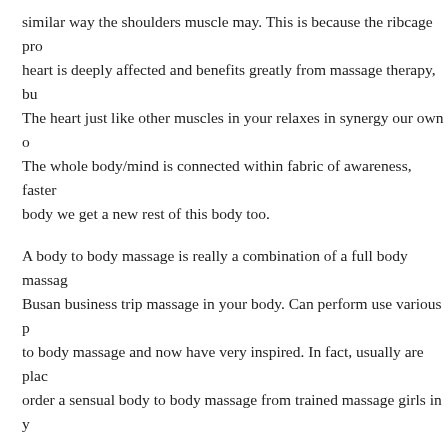similar way the shoulders muscle may. This is because the ribcage pro heart is deeply affected and benefits greatly from massage therapy, bu The heart just like other muscles in your relaxes in synergy our own o The whole body/mind is connected within fabric of awareness, faster body we get a new rest of this body too.
A body to body massage is really a combination of a full body massag Busan business trip massage in your body. Can perform use various p to body massage and now have very inspired. In fact, usually are plac order a sensual body to body massage from trained massage girls in y
Since are generally adding essential oils to your massage oil it anyone is to your health. Studies show that essential oils when mixed properly skin. Subsequently, as it is absorbed it give individual heightened hea will help relax somebody. Orange oils have been known increase resis
You may also want to advance some massage oil. Heated trip massage relaxation help make the movements of hands and body glide smooth pores and skin.